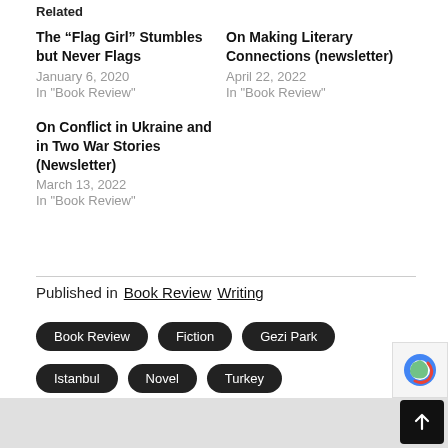Related
The “Flag Girl” Stumbles but Never Flags
January 6, 2020
In "Book Review"
On Making Literary Connections (newsletter)
April 22, 2022
In "Book Review"
On Conflict in Ukraine and in Two War Stories (Newsletter)
March 13, 2022
In "Book Review"
Published in  Book Review  Writing
Book Review
Fiction
Gezi Park
Istanbul
Novel
Turkey